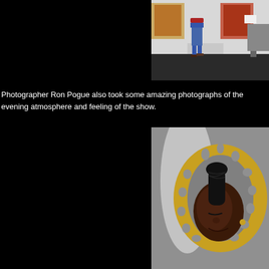[Figure (photo): Two people standing in an art gallery viewing paintings on white walls, with dark flooring]
Photographer Ron Pogue also took some amazing photographs of the evening atmosphere and feeling of the show.
[Figure (photo): Close-up of a sculptural artwork depicting a woman's face and head with braided hair, surrounded by a golden textured oval frame with holes, against a grey wall]